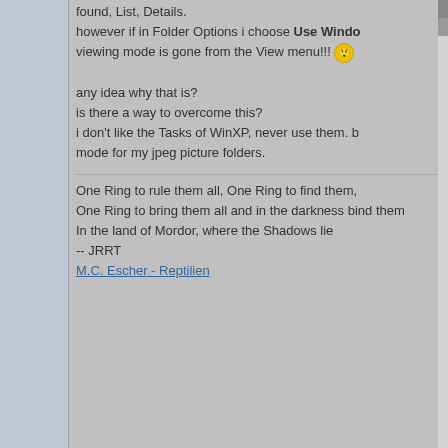found, List, Details. however if in Folder Options i choose Use Windows... viewing mode is gone from the View menu!!! any idea why that is? is there a way to overcome this? i don't like the Tasks of WinXP, never use them. i just want Filmstrip mode for my jpeg picture folders.
One Ring to rule them all, One Ring to find them,
One Ring to bring them all and in the darkness bind them
In the land of Mordor, where the Shadows lie
-- JRRT
M.C. Escher - Reptilien
pranav81
CD-RW Player
Posts: 1160
Joined: Thu Dec 05, 2002 6:57 am
Location: Sunnyvale, CA
by pranav81 on Sun Dec 12, 2004 8:13 am

Well.....dodeca......you have to lose something to...

BTW....I am not on a XP computer now,but did yo... options" under performance options?I dont exact... know as soon as I get to the XP computer.